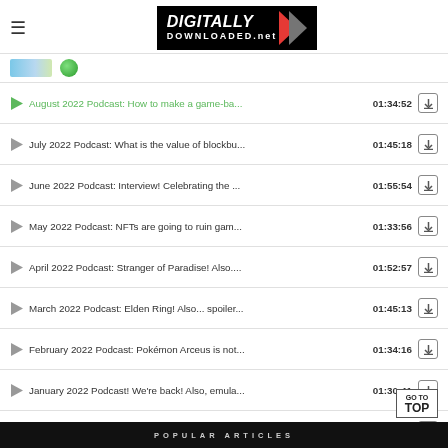Digitally Downloaded.net
August 2022 Podcast: How to make a game-ba... 01:34:52
July 2022 Podcast: What is the value of blockbu... 01:45:18
June 2022 Podcast: Interview! Celebrating the ... 01:55:54
May 2022 Podcast: NFTs are going to ruin gam... 01:33:56
April 2022 Podcast: Stranger of Paradise! Also.... 01:52:57
March 2022 Podcast: Elden Ring! Also... spoiler... 01:45:13
February 2022 Podcast: Pokémon Arceus is not... 01:34:16
January 2022 Podcast! We're back! Also, emula... 01:30:41
December 2021 Podcast: The year that was, th... 01:55:25
POPULAR ARTICLES